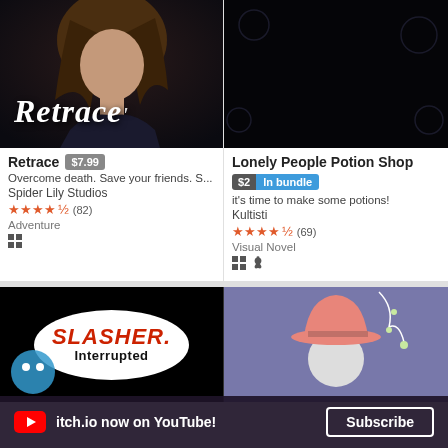[Figure (illustration): Retrace game cover art — anime-style character with brown hair on dark background with 'Retrace' text]
Retrace $7.99
Overcome death. Save your friends. S...
Spider Lily Studios
★★★★½ (82)
Adventure
[Figure (illustration): Lonely People Potion Shop cover — black background with hand-lettered purple/lavender text]
Lonely People Potion Shop
$2 In bundle
it's time to make some potions!
Kultisti
★★★★½ (69)
Visual Novel
[Figure (illustration): Slasher Interrupted game cover — black background with oval logo containing red Slasher text and Interrupted below]
[Figure (illustration): Unnamed game with hat character illustration on purple background]
itch.io now on YouTube!
Subscribe